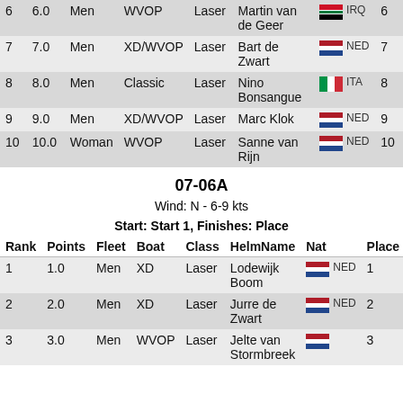| Rank | Points | Fleet | Boat | Class | HelmName | Nat | Place |
| --- | --- | --- | --- | --- | --- | --- | --- |
| 6 | 6.0 | Men | WVOP | Laser | Martin van de Geer | IRQ | 6 |
| 7 | 7.0 | Men | XD/WVOP | Laser | Bart de Zwart | NED | 7 |
| 8 | 8.0 | Men | Classic | Laser | Nino Bonsangue | ITA | 8 |
| 9 | 9.0 | Men | XD/WVOP | Laser | Marc Klok | NED | 9 |
| 10 | 10.0 | Woman | WVOP | Laser | Sanne van Rijn | NED | 10 |
07-06A
Wind: N - 6-9 kts
Start: Start 1, Finishes: Place
| Rank | Points | Fleet | Boat | Class | HelmName | Nat | Place |
| --- | --- | --- | --- | --- | --- | --- | --- |
| 1 | 1.0 | Men | XD | Laser | Lodewijk Boom | NED | 1 |
| 2 | 2.0 | Men | XD | Laser | Jurre de Zwart | NED | 2 |
| 3 | 3.0 | Men | WVOP | Laser | Jelte van Stormbroek | NED | 3 |